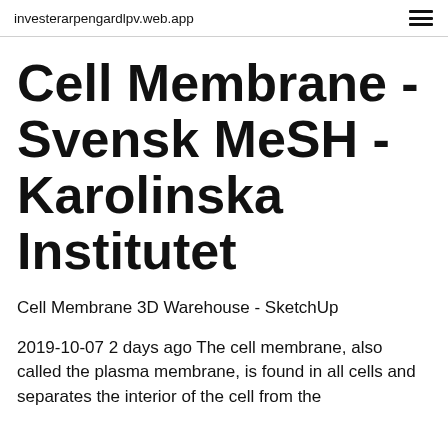investerarpengardlpv.web.app
Cell Membrane - Svensk MeSH - Karolinska Institutet
Cell Membrane 3D Warehouse - SketchUp
2019-10-07 2 days ago The cell membrane, also called the plasma membrane, is found in all cells and separates the interior of the cell from the